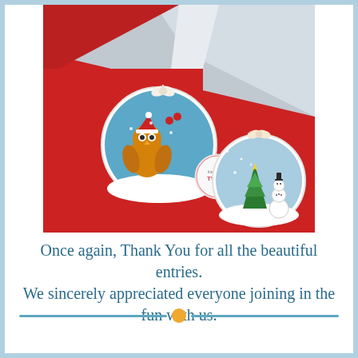[Figure (photo): Christmas craft ornaments on red felt background. Two circular ornament decorations with ribbon bows — one featuring an owl wearing a Santa hat, one featuring a snowman and Christmas tree scene. A small circular logo reads 'The Crafting Twins'. Background includes white/silver glitter fabric.]
Once again, Thank You for all the beautiful entries. We sincerely appreciated everyone joining in the fun with us.